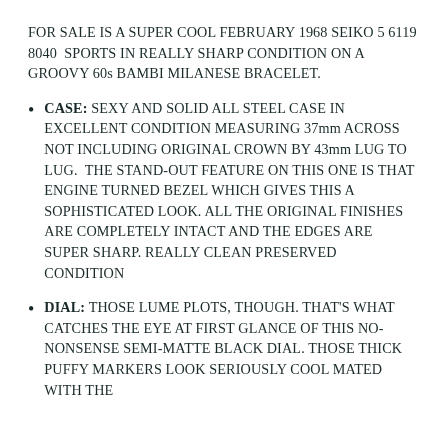FOR SALE IS A SUPER COOL FEBRUARY 1968 SEIKO 5 6119 8040 SPORTS IN REALLY SHARP CONDITION ON A GROOVY 60s BAMBI MILANESE BRACELET.
CASE: SEXY AND SOLID ALL STEEL CASE IN EXCELLENT CONDITION MEASURING 37mm ACROSS NOT INCLUDING ORIGINAL CROWN BY 43mm LUG TO LUG. THE STAND-OUT FEATURE ON THIS ONE IS THAT ENGINE TURNED BEZEL WHICH GIVES THIS A SOPHISTICATED LOOK. ALL THE ORIGINAL FINISHES ARE COMPLETELY INTACT AND THE EDGES ARE SUPER SHARP. REALLY CLEAN PRESERVED CONDITION
DIAL: THOSE LUME PLOTS, THOUGH. THAT'S WHAT CATCHES THE EYE AT FIRST GLANCE OF THIS NO-NONSENSE SEMI-MATTE BLACK DIAL. THOSE THICK PUFFY MARKERS LOOK SERIOUSLY COOL MATED WITH THE